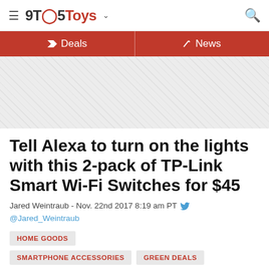9TO5Toys
Deals | News
[Figure (other): Advertisement/placeholder banner area with diagonal hatching pattern]
Tell Alexa to turn on the lights with this 2-pack of TP-Link Smart Wi-Fi Switches for $45
Jared Weintraub - Nov. 22nd 2017 8:19 am PT @Jared_Weintraub
HOME GOODS
SMARTPHONE ACCESSORIES
GREEN DEALS